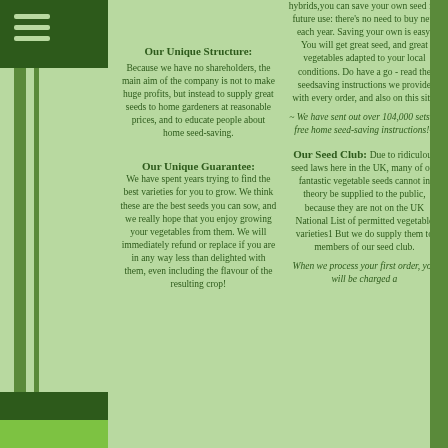Our Unique Structure:
Because we have no shareholders, the main aim of the company is not to make huge profits, but instead to supply great seeds to home gardeners at reasonable prices, and to educate people about home seed-saving.
Our Unique Guarantee:
We have spent years trying to find the best varieties for you to grow. We think these are the best seeds you can sow, and we really hope that you enjoy growing your vegetables from them. We will immediately refund or replace if you are in any way less than delighted with them, even including the flavour of the resulting crop!
hybrids,you can save your own seed for future use: there's no need to buy new each year. Saving your own is easy. You will get great seed, and great vegetables adapted to your local conditions. Do have a go - read the seedsaving instructions we provide with every order, and also on this site.
~ We have sent out over 104,000 sets of free home seed-saving instructions!~
Our Seed Club:
Due to ridiculous seed laws here in the UK, many of our fantastic vegetable seeds cannot in theory be supplied to the public, because they are not on the UK National List of permitted vegetable varieties1 But we do supply them to members of our seed club.
When we process your first order, you will be charged a